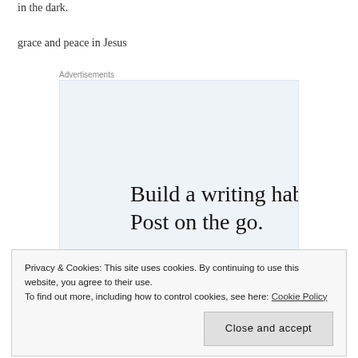in the dark.
grace and peace in Jesus
Advertisements
[Figure (infographic): WordPress app advertisement with text 'Build a writing habit. Post on the go.' and 'GET THE APP' call to action with WordPress logo icon]
Privacy & Cookies: This site uses cookies. By continuing to use this website, you agree to their use.
To find out more, including how to control cookies, see here: Cookie Policy
Close and accept